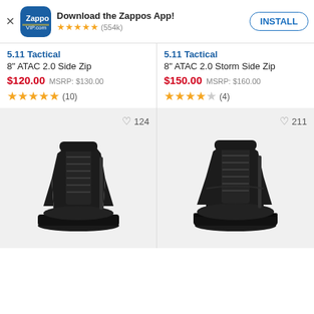[Figure (screenshot): Zappos app install banner with blue app icon, 5 gold stars, rating (554k), and INSTALL button]
5.11 Tactical
8" ATAC 2.0 Side Zip
$120.00  MSRP: $130.00
★★★★★ (10)
5.11 Tactical
8" ATAC 2.0 Storm Side Zip
$150.00  MSRP: $160.00
★★★★☆ (4)
[Figure (photo): Black 5.11 Tactical 8" ATAC 2.0 Side Zip boot on gray background, liked 124 times]
[Figure (photo): Black 5.11 Tactical 8" ATAC 2.0 Storm Side Zip boot on gray background, liked 211 times]